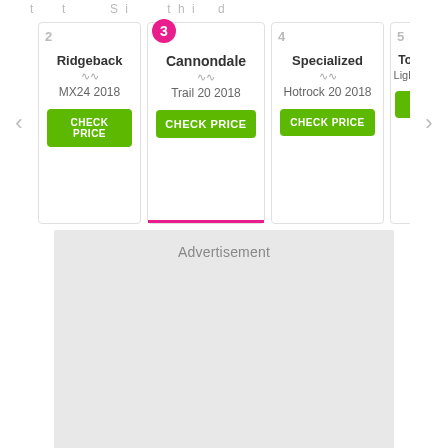... ... ... ... ... ... ... ...
Ridgeback MX24 2018 | CHECK PRICE
3 Cannondale Trail 20 2018 | CHECK PRICE
4 Specialized Hotrock 20 2018 | CHECK PRICE
5 Townsend Lightning Moun... | VIEW
[Figure (screenshot): Advertisement placeholder block (gray rectangle)]